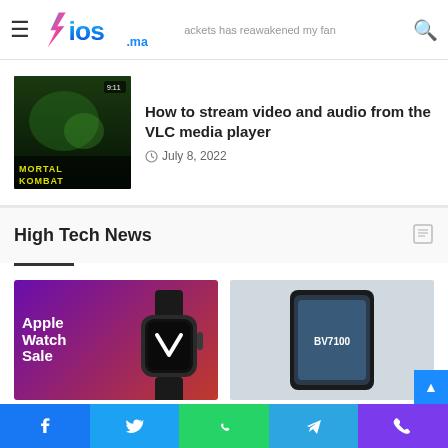iOS.ma — navigation header with logo, hamburger menu, and search icon
[Figure (screenshot): Article thumbnail: dark gaming scene with text overlay (Mortal Kombat style)]
How to stream video and audio from the VLC media player
July 8, 2022
High Tech News
[Figure (illustration): Apple Watch Sale advertisement banner: purple-to-red gradient background with white bold text 'Apple Watch Sale' and Apple Watch image]
Save $100 on these Apple
Blackview BV7100 full
Social share bar: Facebook, Twitter, WhatsApp, Telegram, Phone